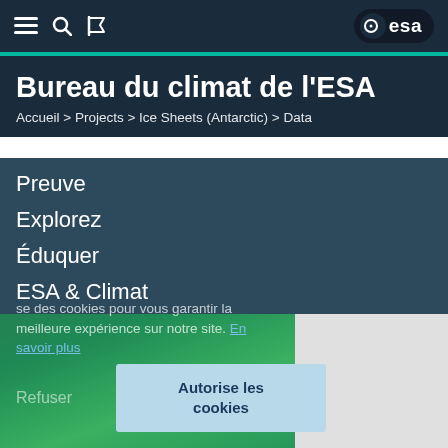≡ 🔍 🏳 | ·e esa
Bureau du climat de l'ESA
Accueil > Projects > Ice Sheets (Antarctic) > Data
Preuve
Explorez
Éduquer
ESA & Climat
se des cookies pour vous garantir la meilleure expérience sur notre site. En savoir plus
Refuser
Autorise les cookies